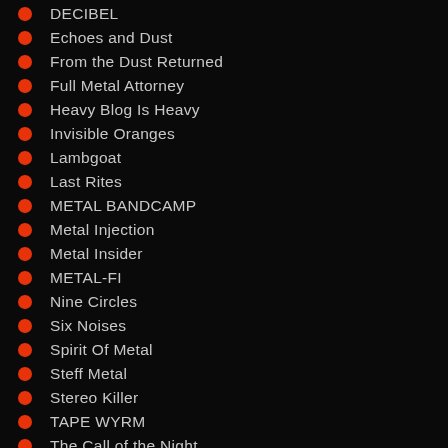DECIBEL
Echoes and Dust
From the Dust Returned
Full Metal Attorney
Heavy Blog Is Heavy
Invisible Oranges
Lambgoat
Last Rites
METAL BANDCAMP
Metal Injection
Metal Insider
METAL-FI
Nine Circles
Six Noises
Spirit Of Metal
Steff Metal
Stereo Killer
TAPE WYRM
The Call of the Night
The Circle Pit
The Obelisk